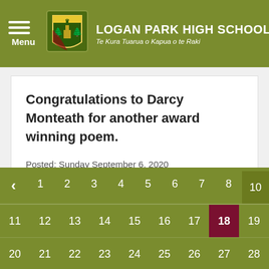LOGAN PARK HIGH SCHOOL — Te Kura Tuarua o Kapua o te Raki
Congratulations to Darcy Monteath for another award winning poem.
Posted: Sunday September 6, 2020
[Figure (other): Calendar widget showing dates 1-28+ in a green grid, with date 18 highlighted in dark red/maroon. Navigation arrow on the left.]